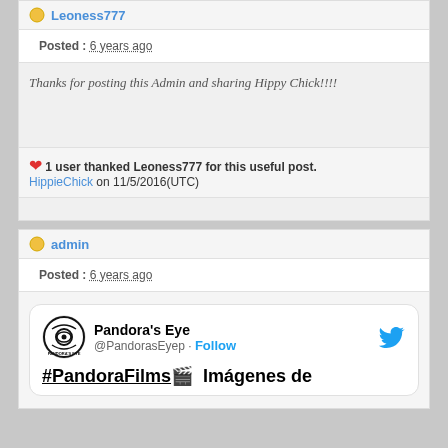Leoness777
Posted : 6 years ago
Thanks for posting this Admin and sharing Hippy Chick!!!!
❤ 1 user thanked Leoness777 for this useful post. HippieChick on 11/5/2016(UTC)
admin
Posted : 6 years ago
[Figure (screenshot): Embedded tweet from Pandora's Eye (@PandorasEyep) with Follow button and Twitter bird icon. Tweet text begins: #PandoraFilms 🎬 Imágenes de]